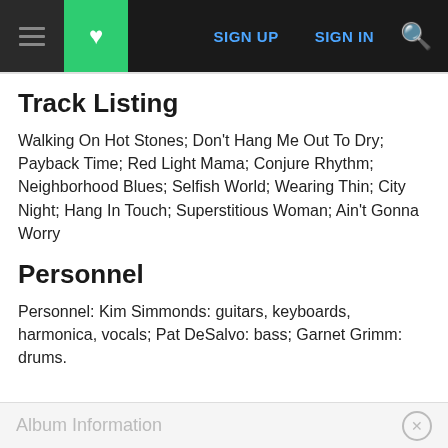SIGN UP  SIGN IN
Track Listing
Walking On Hot Stones; Don't Hang Me Out To Dry; Payback Time; Red Light Mama; Conjure Rhythm; Neighborhood Blues; Selfish World; Wearing Thin; City Night; Hang In Touch; Superstitious Woman; Ain't Gonna Worry
Personnel
Personnel: Kim Simmonds: guitars, keyboards, harmonica, vocals; Pat DeSalvo: bass; Garnet Grimm: drums.
Album Information